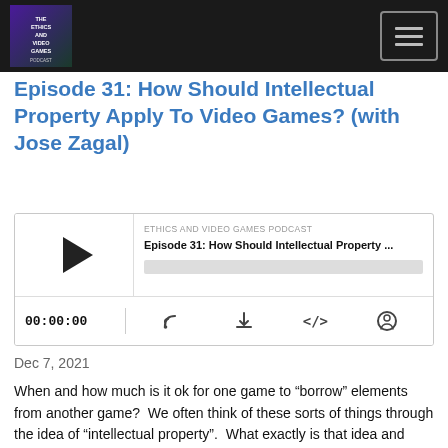Ethics and Video Games Podcast logo and navigation menu
Episode 31: How Should Intellectual Property Apply To Video Games? (with Jose Zagal)
[Figure (screenshot): Podcast audio player widget showing play button, episode title 'Episode 31: How Should Intellectual Property ...' from ETHICS AND VIDEO GAMES PODCAST, progress bar, timer showing 00:00:00, and controls for RSS, download, embed, and share]
Dec 7, 2021
When and how much is it ok for one game to “borrow” elements from another game?  We often think of these sorts of things through the idea of “intellectual property”.  What exactly is that idea and how should it apply to video games?

----------------------------

Our guest, game scholar Jose Zagal (@JoseZagal) is...
Read More